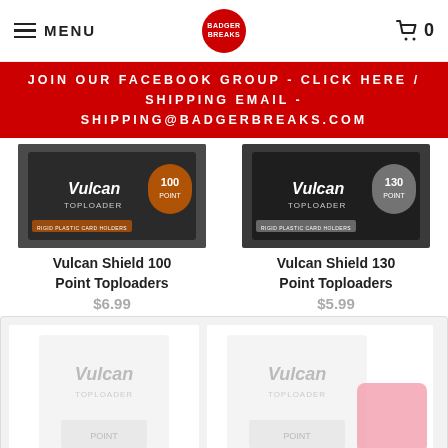MENU | Badger Breaks logo | Cart 0
JOIN OUR FACEBOOK GROUP - CLICK HERE / SHIPPING EMAIL - SHIPPING@BADGERBREAKS.COM
[Figure (photo): Vulcan Shield 100 Point Toploader product box photo]
Vulcan Shield 100 Point Toploaders
$6.99
[Figure (photo): Vulcan Shield 130 Point Toploader product box photo]
Vulcan Shield 130 Point Toploaders
$5.99
[Figure (photo): Faded Vulcan toploader product image (bottom left card)]
[Figure (photo): Faded Vulcan toploader product image with pink/red badge (bottom right card)]